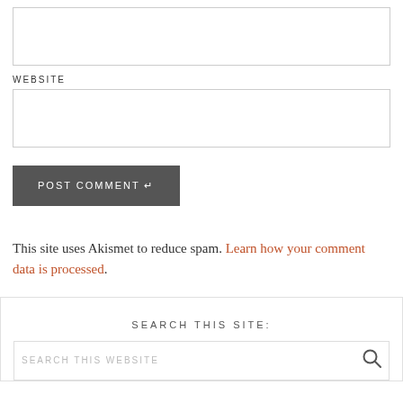(empty input box)
WEBSITE
(empty website input box)
POST COMMENT
This site uses Akismet to reduce spam. Learn how your comment data is processed.
SEARCH THIS SITE:
SEARCH THIS WEBSITE